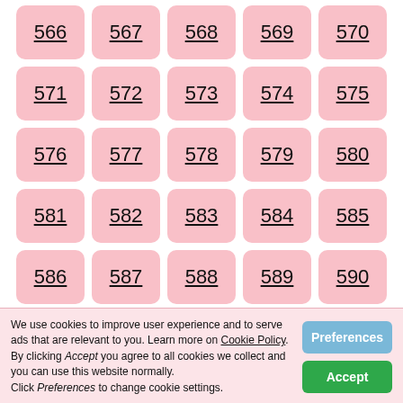566 567 568 569 570
571 572 573 574 575
576 577 578 579 580
581 582 583 584 585
586 587 588 589 590
591 592 593 594 595
596 597 598 599 600
601 602 603 604 605
We use cookies to improve user experience and to serve ads that are relevant to you. Learn more on Cookie Policy. By clicking Accept you agree to all cookies we collect and you can use this website normally. Click Preferences to change cookie settings.